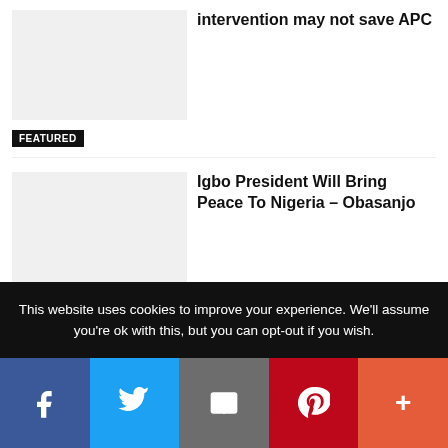intervention may not save APC
FEATURED
Igbo President Will Bring Peace To Nigeria – Obasanjo
FEATURED
This website uses cookies to improve your experience. We'll assume you're ok with this, but you can opt-out if you wish.